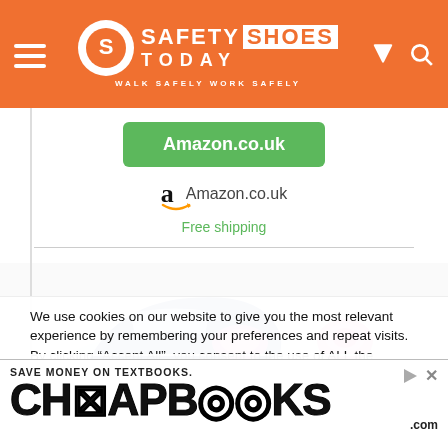Safety Shoes Today — WALK SAFELY WORK SAFELY
[Figure (screenshot): Green Amazon.co.uk button with Amazon logo and 'Free shipping' text below]
[Figure (photo): Blue sneaker shoe with pink gel heel insert and a separate clear gel heel cushion pad with pink center]
We use cookies on our website to give you the most relevant experience by remembering your preferences and repeat visits. By clicking "Accept All", you consent to the use of ALL the cookies. However, you may visit "Cookie Settings" to de a controlled consent.
[Figure (advertisement): CHEAPBOOKS.COM advertisement — 'SAVE MONEY ON TEXTBOOKS.' with large styled CHEAPBOOKS logo]